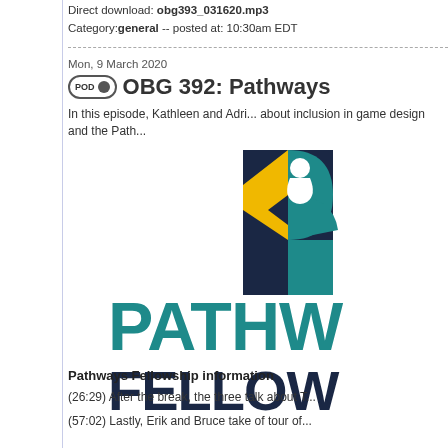Direct download: obg393_031620.mp3
Category: general -- posted at: 10:30am EDT
Mon, 9 March 2020
OBG 392: Pathways...
In this episode, Kathleen and Adri... about inclusion in game design and the Path...
[Figure (logo): Pathways Fellowship logo with geometric meeple shapes in dark blue, teal, and gold, with large text reading PATHWAYS FELLOW...]
Pathways Fellowship information
(26:29) After the break, the three talk about T...
(57:02) Lastly, Erik and Bruce take of tour of...